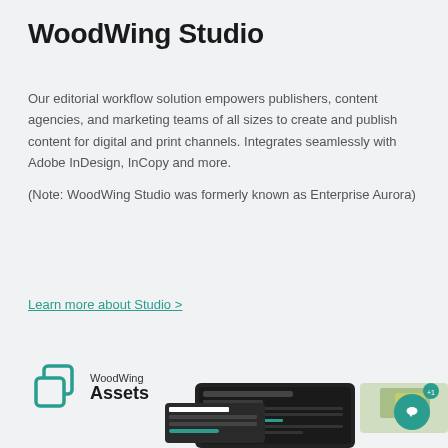WoodWing Studio
Our editorial workflow solution empowers publishers, content agencies, and marketing teams of all sizes to create and publish content for digital and print channels. Integrates seamlessly with Adobe InDesign, InCopy and more.
(Note: WoodWing Studio was formerly known as Enterprise Aurora)
Learn more about Studio >
[Figure (logo): WoodWing Assets logo with two overlapping square icons in teal/blue and the text 'WoodWing Assets']
[Figure (screenshot): Screenshot of WoodWing Assets software interface showing product listing UI with images of food/vegetables and a custom download dialog]